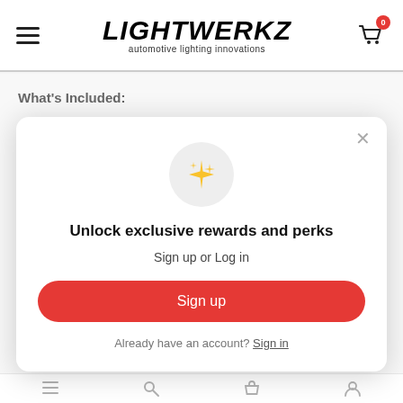LIGHTWERKZ automotive lighting innovations
What's Included:
Quantity: Single or Pair
[Figure (screenshot): Modal popup with sparkle icon, title 'Unlock exclusive rewards and perks', subtitle 'Sign up or Log in', red Sign up button, and 'Already have an account? Sign in' link]